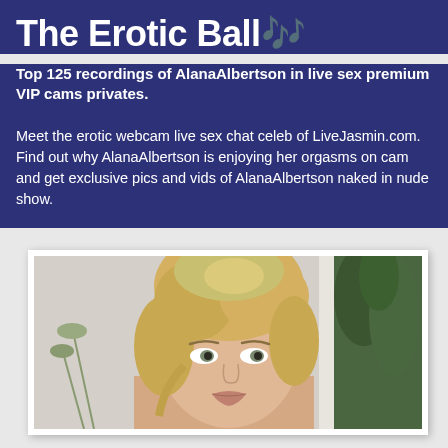The Erotic Ball🎵
Top 125 recordings of AlanaAlbertson in live sex premium VIP cams privates.
Meet the erotic webcam live sex chat celeb of LiveJasmin.com. Find out why AlanaAlbertson is enjoying her orgasms on cam and get exclusive pics and vids of AlanaAlbertson naked in nude show.
[Figure (photo): Photo of a blonde woman looking at the camera, with plants visible in the background]